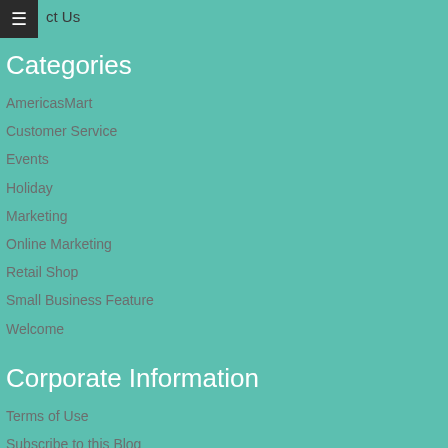ct Us
Categories
AmericasMart
Customer Service
Events
Holiday
Marketing
Online Marketing
Retail Shop
Small Business Feature
Welcome
Corporate Information
Terms of Use
Subscribe to this Blog
Powered by:
Bags and Bows Online